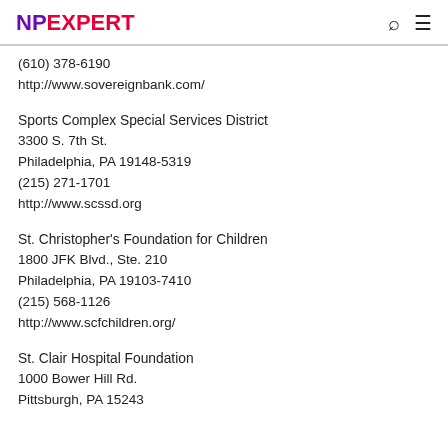NPEXPERT
(610) 378-6190
http://www.sovereignbank.com/
Sports Complex Special Services District
3300 S. 7th St.
Philadelphia, PA 19148-5319
(215) 271-1701
http://www.scssd.org
St. Christopher's Foundation for Children
1800 JFK Blvd., Ste. 210
Philadelphia, PA 19103-7410
(215) 568-1126
http://www.scfchildren.org/
St. Clair Hospital Foundation
1000 Bower Hill Rd.
Pittsburgh, PA 15243